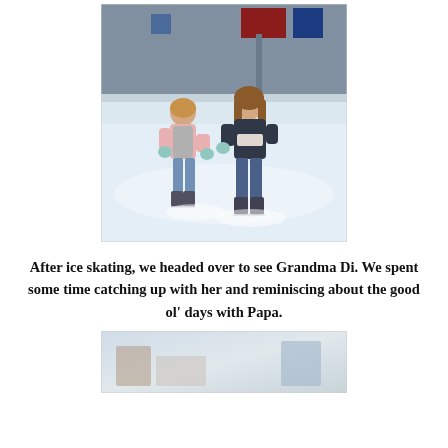[Figure (photo): Two young girls ice skating at an indoor rink, holding hands. The smaller girl on the left wears a pink jacket and gray vest; the taller girl on the right wears a dark jacket and jeans. They are on white ice with arena banners visible in the background.]
After ice skating, we headed over to see Grandma Di. We spent some time catching up with her and reminiscing about the good ol' days with Papa.
[Figure (photo): Partial view of a photo at the bottom of the page, showing what appears to be people indoors, cropped.]